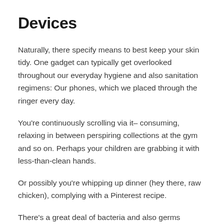Devices
Naturally, there specify means to best keep your skin tidy. One gadget can typically get overlooked throughout our everyday hygiene and also sanitation regimens: Our phones, which we placed through the ringer every day.
You're continuously scrolling via it– consuming, relaxing in between perspiring collections at the gym and so on. Perhaps your children are grabbing it with less-than-clean hands.
Or possibly you're whipping up dinner (hey there, raw chicken), complying with a Pinterest recipe.
There's a great deal of bacteria and also germs hanging